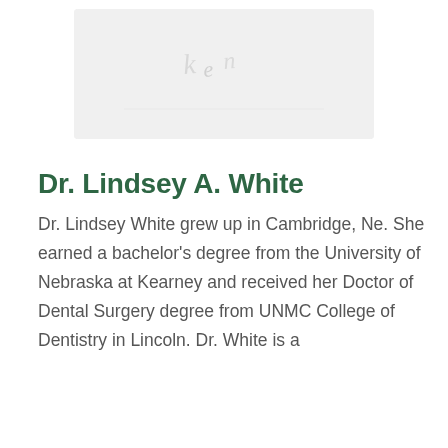[Figure (photo): Portrait photo of Dr. Lindsey A. White, partially visible, light/faded appearance]
Dr. Lindsey A. White
Dr. Lindsey White grew up in Cambridge, Ne. She earned a bachelor's degree from the University of Nebraska at Kearney and received her Doctor of Dental Surgery degree from UNMC College of Dentistry in Lincoln. Dr. White is a